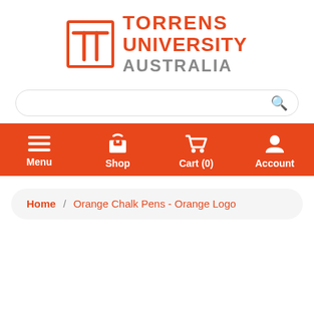[Figure (logo): Torrens University Australia logo with orange T icon in a square border and orange/grey text]
[Figure (screenshot): Search bar with rounded corners and a magnifying glass icon on the right]
[Figure (screenshot): Orange navigation bar with Menu, Shop, Cart (0), and Account icons]
Home / Orange Chalk Pens - Orange Logo